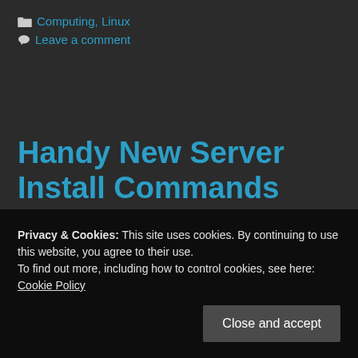🗁 Computing, Linux
💬 Leave a comment
Handy New Server Install Commands
13/06/2022 by Stoke
Privacy & Cookies: This site uses cookies. By continuing to use this website, you agree to their use.
To find out more, including how to control cookies, see here: Cookie Policy
Close and accept